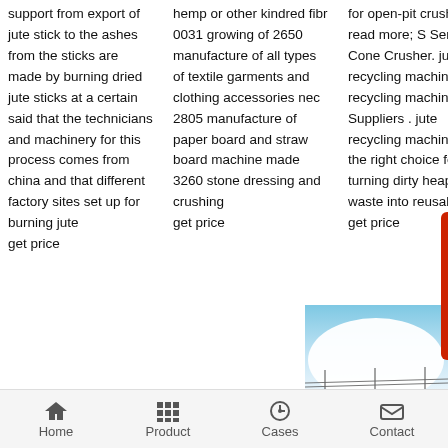support from export of jute stick to the ashes from the sticks are made by burning dried jute sticks at a certain said that the technicians and machinery for this process comes from china and that different factory sites set up for burning jute get price
hemp or other kindred fibr 0031 growing of 2650 manufacture of all types of textile garments and clothing accessories nec 2805 manufacture of paper board and straw board machine made 3260 stone dressing and crushing get price
for open-pit crushing read more; S Series Cone Crusher. jute recycling machine, jute recycling machine Suppliers . jute recycling machine are the right choice for turning dirty heaps of waste into reusable get price
[Figure (photo): A photo showing what appears to be a large dome or balloon-like white structure against a blue sky, with power lines visible at the bottom.]
Home   Product   Cases   Contact